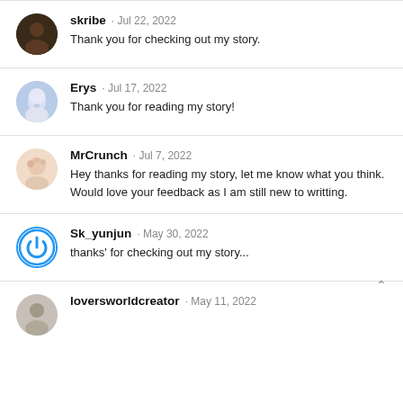skribe · Jul 22, 2022
Thank you for checking out my story.
Erys · Jul 17, 2022
Thank you for reading my story!
MrCrunch · Jul 7, 2022
Hey thanks for reading my story, let me know what you think. Would love your feedback as I am still new to writting.
Sk_yunjun · May 30, 2022
thanks' for checking out my story...
loversworldcreator · May 11, 2022